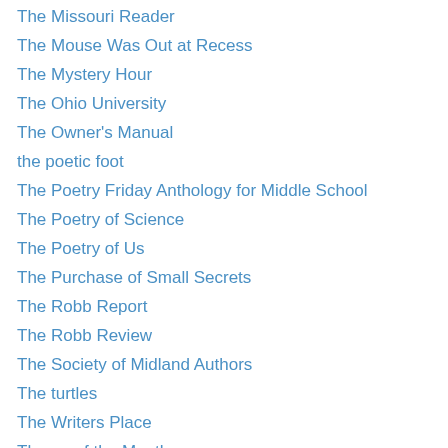The Missouri Reader
The Mouse Was Out at Recess
The Mystery Hour
The Ohio University
The Owner's Manual
the poetic foot
The Poetry Friday Anthology for Middle School
The Poetry of Science
The Poetry of Us
The Purchase of Small Secrets
The Robb Report
The Robb Review
The Society of Midland Authors
The turtles
The Writers Place
Theme of the Month
Think 2014
Thirty Poets Thirty Days
This Week with David Harrison
Tim Rasinski